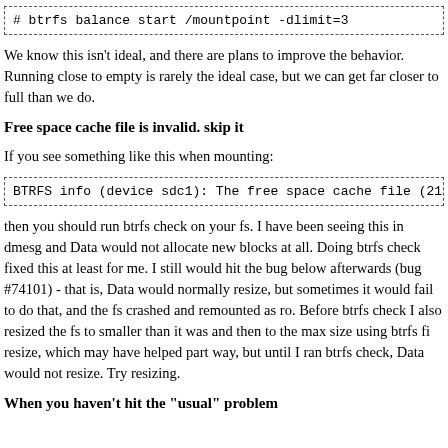[Figure (screenshot): Code block showing: # btrfs balance start /mountpoint -dlimit=3]
We know this isn't ideal, and there are plans to improve the behavior. Running close to empty is rarely the ideal case, but we can get far closer to full than we do.
Free space cache file is invalid. skip it
If you see something like this when mounting:
[Figure (screenshot): Code block showing: BTRFS info (device sdc1): The free space cache file (2159324168192) is]
then you should run btrfs check on your fs. I have been seeing this in dmesg and Data would not allocate new blocks at all. Doing btrfs check fixed this at least for me. I still would hit the bug below afterwards (bug #74101) - that is, Data would normally resize, but sometimes it would fail to do that, and the fs crashed and remounted as ro. Before btrfs check I also resized the fs to smaller than it was and then to the max size using btrfs fi resize, which may have helped part way, but until I ran btrfs check, Data would not resize. Try resizing.
When you haven't hit the "usual" problem